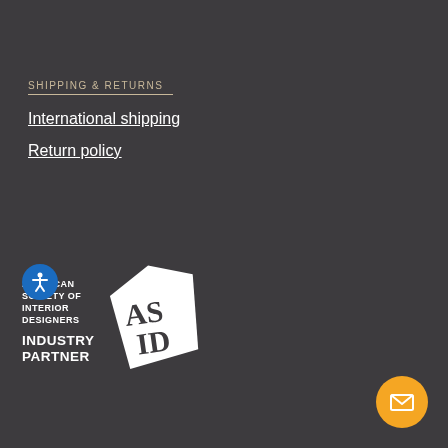SHIPPING & RETURNS
International shipping
Return policy
[Figure (logo): ASID American Society of Interior Designers Industry Partner logo with white geometric AS/ID mark on dark background]
[Figure (other): Orange circular email/contact button with envelope icon in bottom right corner]
[Figure (other): Blue circular accessibility button with person icon]